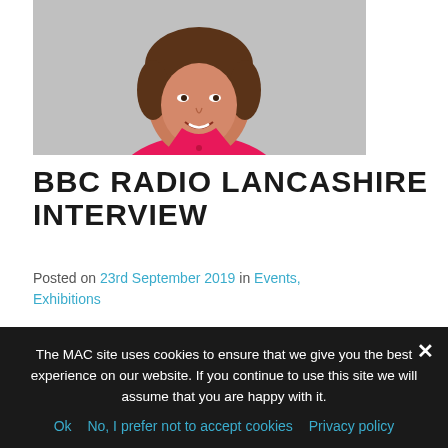[Figure (photo): Portrait photo of a woman with short brown hair wearing a bright pink/red top and a necklace, smiling, against a light grey background.]
BBC RADIO LANCASHIRE INTERVIEW
Posted on 23rd September 2019 in Events, Exhibitions
BBC Radio Lancashire recently invited one of our
The MAC site uses cookies to ensure that we give you the best experience on our website. If you continue to use this site we will assume that you are happy with it.
Ok  No, I prefer not to accept cookies  Privacy policy